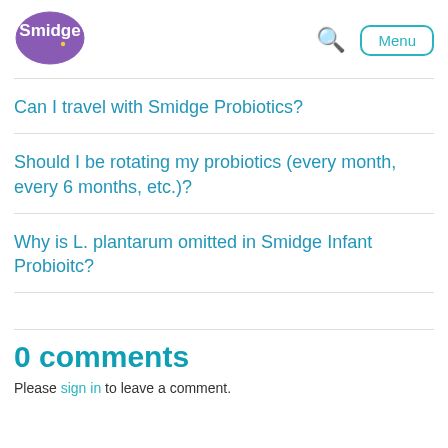[Figure (logo): Smidge brand logo — white text on purple oval background]
Can I travel with Smidge Probiotics?
Should I be rotating my probiotics (every month, every 6 months, etc.)?
Why is L. plantarum omitted in Smidge Infant Probioitc?
0 comments
Please sign in to leave a comment.